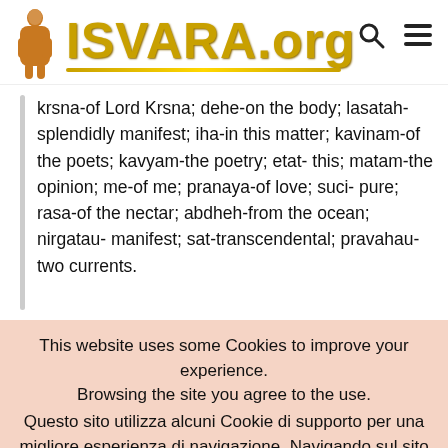ISVARA.org
krsna-of Lord Krsna; dehe-on the body; lasatah-splendidly manifest; iha-in this matter; kavinam-of the poets; kavyam-the poetry; etat- this; matam-the opinion; me-of me; pranaya-of love; suci- pure; rasa-of the nectar; abdheh-from the ocean; nirgatau- manifest; sat-transcendental; pravahau-two currents.
This website uses some Cookies to improve your experience. Browsing the site you agree to the use. Questo sito utilizza alcuni Cookie di supporto per una migliore esperienza di navigazione. Navigando sul sito ne accetti l'uso.
Read More  OK Close  Cookie Settings
English